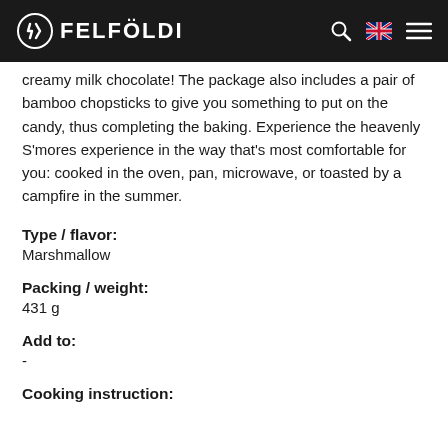Felföldi
creamy milk chocolate! The package also includes a pair of bamboo chopsticks to give you something to put on the candy, thus completing the baking. Experience the heavenly S'mores experience in the way that's most comfortable for you: cooked in the oven, pan, microwave, or toasted by a campfire in the summer.
Type / flavor:
Marshmallow
Packing / weight:
431 g
Add to:
-
Cooking instruction: